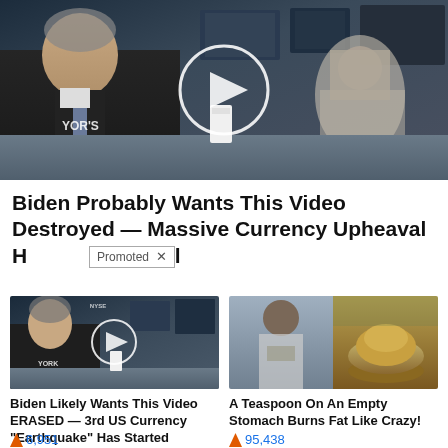[Figure (screenshot): Video thumbnail showing man in dark suit at news desk with play button overlay, NYSE studio background]
Biden Probably Wants This Video Destroyed — Massive Currency Upheaval H... [Promoted ×]
[Figure (screenshot): Ad thumbnail left: Biden Likely Wants This Video ERASED — 3rd US Currency Earthquake Has Started, count 6,951]
Biden Likely Wants This Video ERASED — 3rd US Currency "Earthquake" Has Started
🔥 6,951
[Figure (photo): Ad thumbnail right: woman with toned abs next to bowl of spice powder]
A Teaspoon On An Empty Stomach Burns Fat Like Crazy!
🔥 95,438